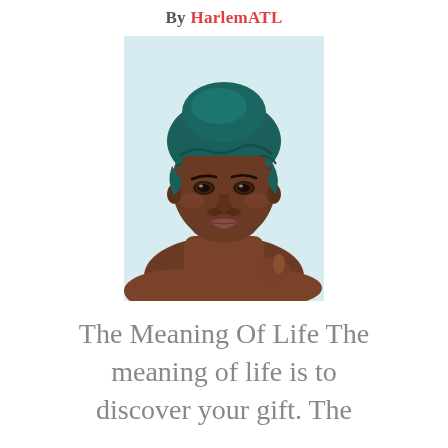By HarlemATL
[Figure (illustration): Digital painting/illustration of a dark-skinned woman with a teal/dark green head wrap, bare shoulders, looking directly at viewer, light blue background]
The Meaning Of Life The meaning of life is to discover your gift. The